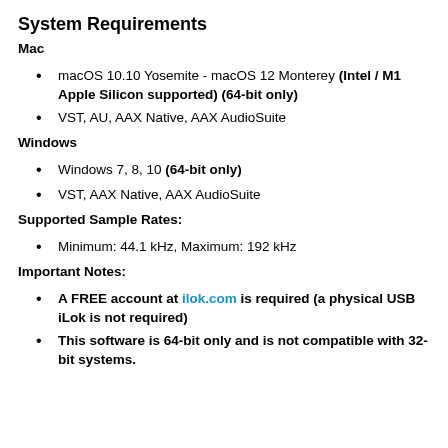System Requirements
Mac
macOS 10.10 Yosemite - macOS 12 Monterey (Intel / M1 Apple Silicon supported) (64-bit only)
VST, AU, AAX Native, AAX AudioSuite
Windows
Windows 7, 8, 10 (64-bit only)
VST, AAX Native, AAX AudioSuite
Supported Sample Rates:
Minimum: 44.1 kHz, Maximum: 192 kHz
Important Notes:
A FREE account at ilok.com is required (a physical USB iLok is not required)
This software is 64-bit only and is not compatible with 32-bit systems.